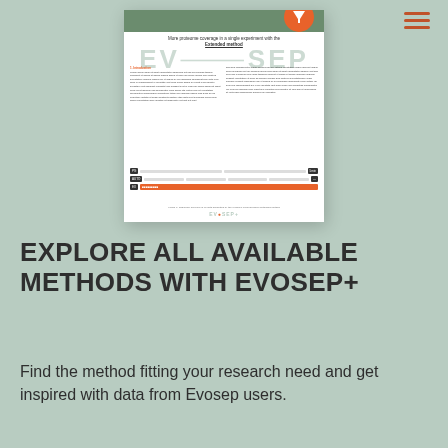[Figure (screenshot): A thumbnail/screenshot of an Evosep+ scientific document page showing a paper titled 'More proteome coverage in a single experiment with the Extended method', with two-column layout, EVOSEP branding, an orange circle logo, a table with badges, and footer logo.]
EXPLORE ALL AVAILABLE METHODS WITH EVOSEP+
Find the method fitting your research need and get inspired with data from Evosep users.